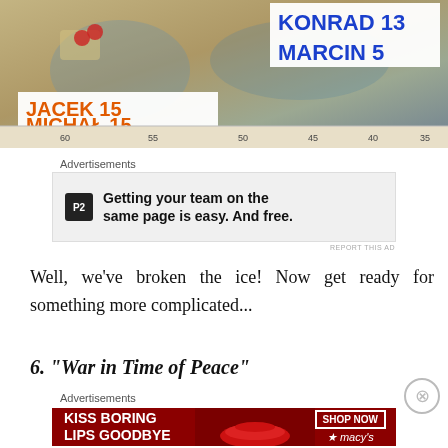[Figure (photo): Board game map photo showing scores: KONRAD 13, MARCIN 5 (blue) and JACEK 15, MICHAŁ 15 (orange), with a ruler/track at the bottom]
Advertisements
[Figure (screenshot): P2 advertisement: Getting your team on the same page is easy. And free.]
REPORT THIS AD
Well, we've broken the ice! Now get ready for something more complicated...
6. "War in Time of Peace"
Advertisements
[Figure (photo): Macy's advertisement: KISS BORING LIPS GOODBYE with SHOP NOW button and Macy's star logo]